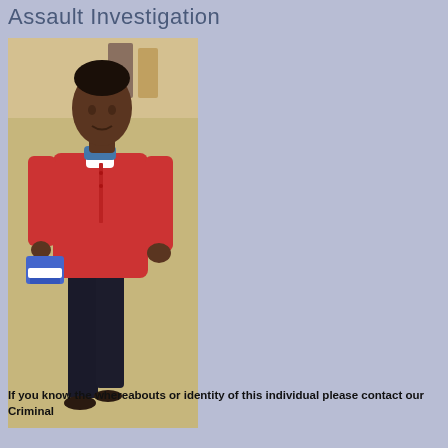Assault Investigation
[Figure (photo): CCTV surveillance photo of a young Black male suspect wearing a red polo shirt, dark jeans, and carrying a blue and white item (possibly shoes or a bag), walking in what appears to be a tiled corridor or mall.]
If you know the whereabouts or identity of this individual please contact our Criminal